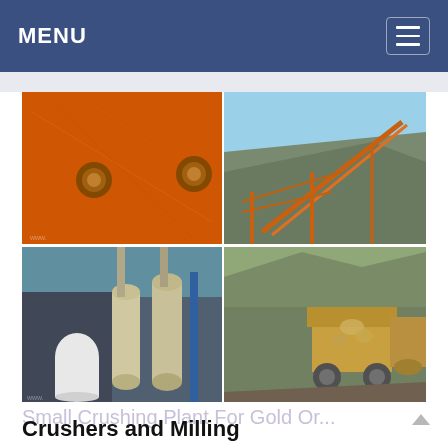MENU
[Figure (photo): Four-panel photo grid showing crushing and milling equipment: top-left shows orange-painted heavy machinery with bolts; top-right shows a conveyor belt system on a hillside with orange steel framework; bottom-left shows a milling facility with large cylindrical grinders and a white tank; bottom-right shows a rock crusher/impact crusher in operation with rubble.]
Small Crushing Plant For Gold Or...
Crushers and Milling